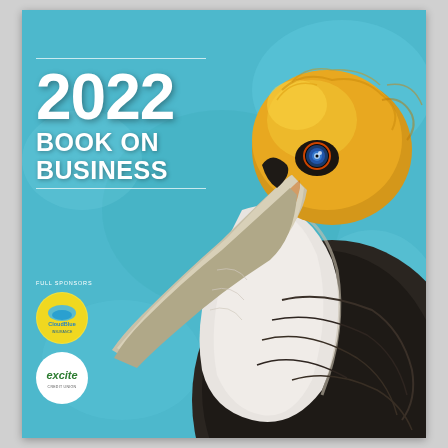[Figure (illustration): Cover page of the 2022 Book on Business. Features a detailed painting of a brown pelican with golden-yellow head feathers and blue eye, set against a teal/turquoise background. The pelican's beak and neck are prominently displayed in the foreground, with detailed feathers on its body shown below.]
2022 BOOK ON BUSINESS
FULL SPONSORS
[Figure (logo): CloudBlue logo in a yellow circle badge]
[Figure (logo): Excite Credit Union logo in a white circle badge]